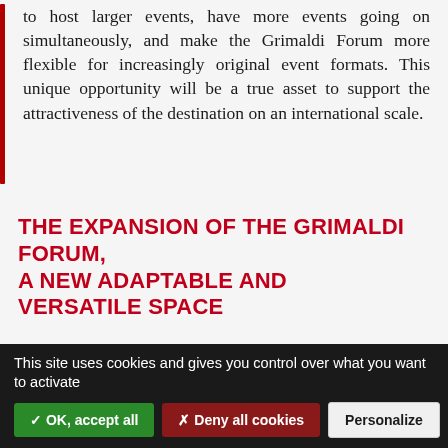to host larger events, have more events going on simultaneously, and make the Grimaldi Forum more flexible for increasingly original event formats. This unique opportunity will be a true asset to support the attractiveness of the destination on an international scale.
THE EXPANSION OF THE GRIMALDI FORUM, A NEW ADAPTABLE AND VERSATILE SPACE
This future extension of the Grimaldi Forum, a versatile and flexible space, will be accessible
This site uses cookies and gives you control over what you want to activate